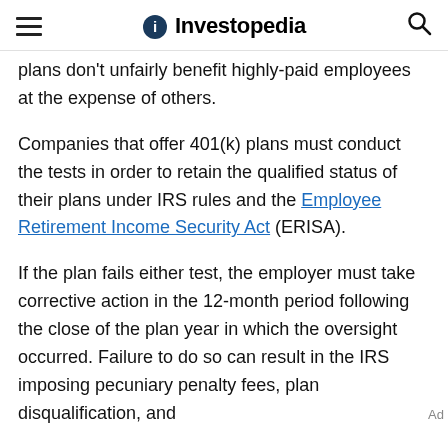Investopedia
plans don't unfairly benefit highly-paid employees at the expense of others.
Companies that offer 401(k) plans must conduct the tests in order to retain the qualified status of their plans under IRS rules and the Employee Retirement Income Security Act (ERISA).
If the plan fails either test, the employer must take corrective action in the 12-month period following the close of the plan year in which the oversight occurred. Failure to do so can result in the IRS imposing pecuniary penalty fees, plan disqualification, and